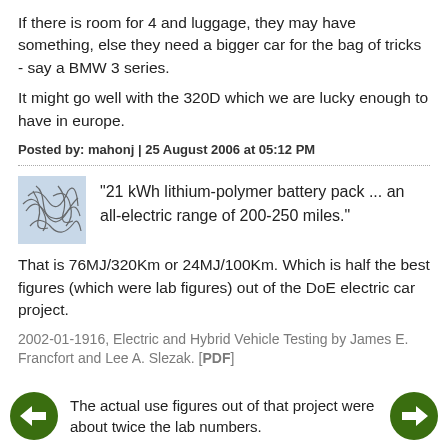If there is room for 4 and luggage, they may have something, else they need a bigger car for the bag of tricks - say a BMW 3 series.
It might go well with the 320D which we are lucky enough to have in europe.
Posted by: mahonj | 25 August 2006 at 05:12 PM
[Figure (illustration): Small avatar/thumbnail image with abstract scribble lines on a light blue background]
"21 kWh lithium-polymer battery pack ... an all-electric range of 200-250 miles."
That is 76MJ/320Km or 24MJ/100Km. Which is half the best figures (which were lab figures) out of the DoE electric car project.
2002-01-1916, Electric and Hybrid Vehicle Testing by James E. Francfort and Lee A. Slezak. [PDF]
The actual use figures out of that project were about twice the lab numbers.